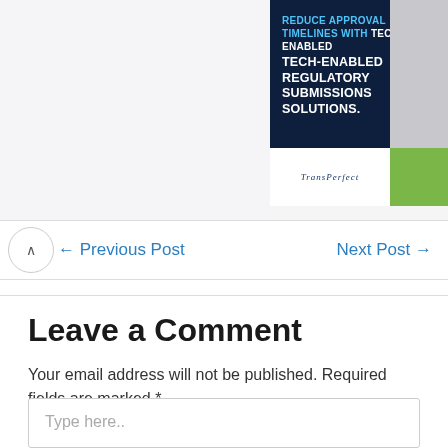[Figure (other): Advertisement banner: 'REDUCE APPROVAL TIMELINES WITH TECH-ENABLED REGULATORY SUBMISSIONS SOLUTIONS.' with TransPerfect logo and green button]
← Previous Post    Next Post →
Leave a Comment
Your email address will not be published. Required fields are marked *
Type here..